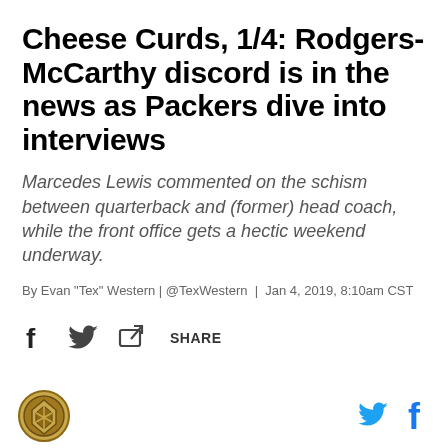Cheese Curds, 1/4: Rodgers-McCarthy discord is in the news as Packers dive into interviews
Marcedes Lewis commented on the schism between quarterback and (former) head coach, while the front office gets a hectic weekend underway.
By Evan "Tex" Western | @TexWestern | Jan 4, 2019, 8:10am CST
[Figure (other): Social share bar with Facebook, Twitter, and generic share icons and SHARE label]
Footer bar with site logo (circular gold/brown badge) on left and Twitter and Facebook icons on right